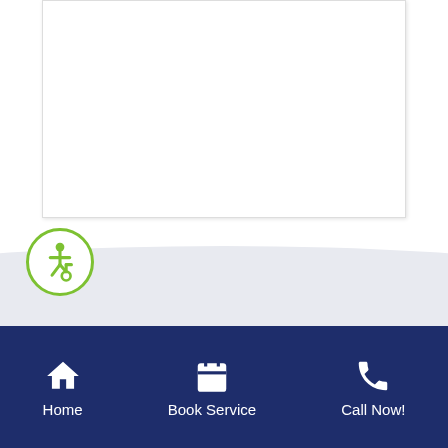[Figure (screenshot): White card/panel at top of page]
Powered by Nearby Now
[Figure (illustration): Accessibility wheelchair icon in green circle]
Home | Book Service | Call Now!